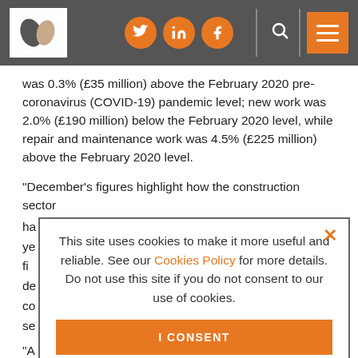Header with logo, social icons (Twitter, LinkedIn, Facebook), search and menu
was 0.3% (£35 million) above the February 2020 pre-coronavirus (COVID-19) pandemic level; new work was 2.0% (£190 million) below the February 2020 level, while repair and maintenance work was 4.5% (£225 million) above the February 2020 level.
“December’s figures highlight how the construction sector ha... ye... fi... de... co... se...
“A... re... H... an...
[Figure (screenshot): Cookie consent overlay with text: This site uses cookies to make it more useful and reliable. See our Cookies Policy for more details. Do not use this site if you do not consent to our use of cookies. Two buttons: I CONSENT and SEE COOKIE POLICY. Close X button top right.]